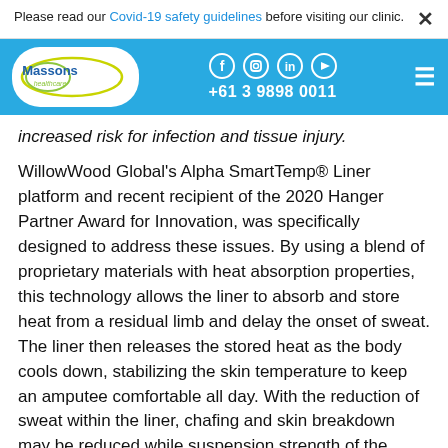Please read our Covid-19 safety guidelines before visiting our clinic.
[Figure (logo): Massons healthcare logo with social media icons (Facebook, Instagram, LinkedIn, YouTube) and phone number +61 3 9898 0011]
increased risk for infection and tissue injury.
WillowWood Global's Alpha SmartTemp® Liner platform and recent recipient of the 2020 Hanger Partner Award for Innovation, was specifically designed to address these issues. By using a blend of proprietary materials with heat absorption properties, this technology allows the liner to absorb and store heat from a residual limb and delay the onset of sweat. The liner then releases the stored heat as the body cools down, stabilizing the skin temperature to keep an amputee comfortable all day. With the reduction of sweat within the liner, chafing and skin breakdown may be reduced while suspension strength of the prosthesis may be improved. The vision of this project is to develop a solution that addresses the issue of heat and perspiration within the socket using learnings